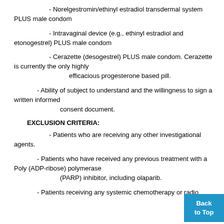- Norelgestromin/ethinyl estradiol transdermal system PLUS male condom
- Intravaginal device (e.g., ethinyl estradiol and etonogestrel) PLUS male condom
- Cerazette (desogestrel) PLUS male condom. Cerazette is currently the only highly efficacious progesterone based pill.
- Ability of subject to understand and the willingness to sign a written informed consent document.
EXCLUSION CRITERIA:
- Patients who are receiving any other investigational agents.
- Patients who have received any previous treatment with a Poly (ADP-ribose) polymerase (PARP) inhibitor, including olaparib.
- Patients receiving any systemic chemotherapy or radio